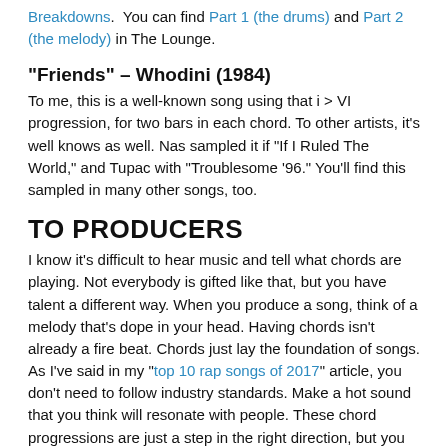Breakdowns. You can find Part 1 (the drums) and Part 2 (the melody) in The Lounge.
“Friends” – Whodini (1984)
To me, this is a well-known song using that i > VI progression, for two bars in each chord. To other artists, it’s well knows as well. Nas sampled it if “If I Ruled The World,” and Tupac with “Troublesome ’96.” You’ll find this sampled in many other songs, too.
TO PRODUCERS
I know it’s difficult to hear music and tell what chords are playing. Not everybody is gifted like that, but you have talent a different way. When you produce a song, think of a melody that’s dope in your head. Having chords isn’t already a fire beat. Chords just lay the foundation of songs. As I’ve said in my “top 10 rap songs of 2017” article, you don’t need to follow industry standards. Make a hot sound that you think will resonate with people. These chord progressions are just a step in the right direction, but you